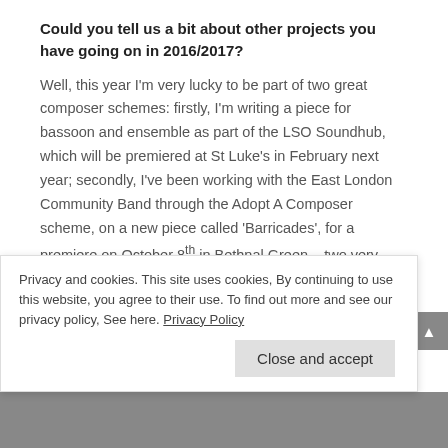Could you tell us a bit about other projects you have going on in 2016/2017?
Well, this year I'm very lucky to be part of two great composer schemes: firstly, I'm writing a piece for bassoon and ensemble as part of the LSO Soundhub, which will be premiered at St Luke's in February next year; secondly, I've been working with the East London Community Band through the Adopt A Composer scheme, on a new piece called 'Barricades', for a premiere on October 8th in Bethnal Green – two very different projects, both of which have kept me extremely busy. Finally, I also have a series of EPs of chamber music old and new that I'm in the process of releasing, three of which feature the master keyboard skills
Privacy and cookies. This site uses cookies, By continuing to use this website, you agree to their use. To find out more and see our privacy policy, See here. Privacy Policy
Close and accept